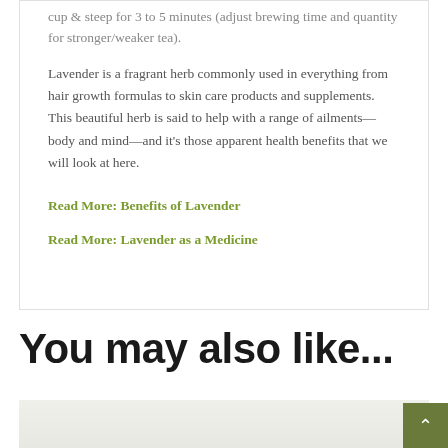cup & steep for 3 to 5 minutes (adjust brewing time and quantity for stronger/weaker tea).
Lavender is a fragrant herb commonly used in everything from hair growth formulas to skin care products and supplements. This beautiful herb is said to help with a range of ailments—body and mind—and it’s those apparent health benefits that we will look at here.
Read More: Benefits of Lavender
Read More: Lavender as a Medicine
You may also like...
[Figure (photo): Partial view of a tea-related product image at the bottom of the page]